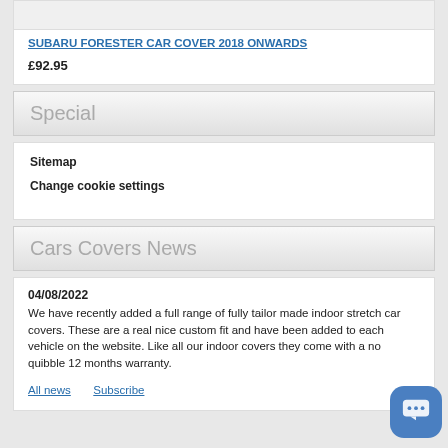[Figure (photo): Product image area for Subaru Forester Car Cover (top portion, partially visible)]
SUBARU FORESTER CAR COVER 2018 ONWARDS
£92.95
Special
Sitemap
Change cookie settings
Cars Covers News
04/08/2022
We have recently added a full range of fully tailor made indoor stretch car covers. These are a real nice custom fit and have been added to each vehicle on the website. Like all our indoor covers they come with a no quibble 12 months warranty.
All news   Subscribe